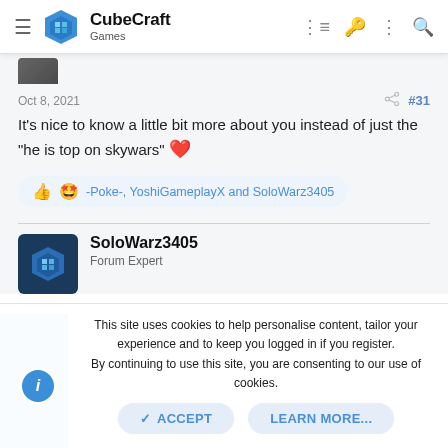CubeCraft Games
Oct 8, 2021  #31
It's nice to know a little bit more about you instead of just the "he is top on skywars" ❤️
-Poke-, YoshiGameplayX and SoloWarz3405
SoloWarz3405
Forum Expert
This site uses cookies to help personalise content, tailor your experience and to keep you logged in if you register.
By continuing to use this site, you are consenting to our use of cookies.